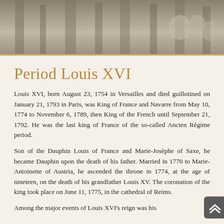[Figure (photo): Sepia-toned historical relief carving or engraving showing figures in a classical or medieval scene, visible at the top of the page.]
Period Louis XVI
Louis XVI, born August 23, 1754 in Versailles and died guillotined on January 21, 1793 in Paris, was King of France and Navarre from May 10, 1774 to November 6, 1789, then King of the French until September 21, 1792. He was the last king of France of the so-called Ancien Régime period.
Son of the Dauphin Louis of France and Marie-Josèphe of Saxe, he became Dauphin upon the death of his father. Married in 1770 to Marie-Antoinette of Austria, he ascended the throne in 1774, at the age of nineteen, on the death of his grandfather Louis XV. The coronation of the king took place on June 11, 1775, in the cathedral of Reims.
Among the major events of Louis XVI's reign was his